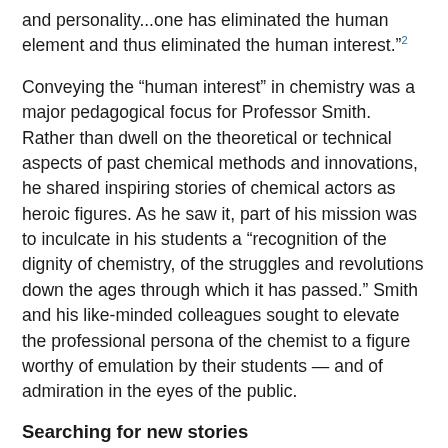and personality...one has eliminated the human element and thus eliminated the human interest."2
Conveying the “human interest” in chemistry was a major pedagogical focus for Professor Smith. Rather than dwell on the theoretical or technical aspects of past chemical methods and innovations, he shared inspiring stories of chemical actors as heroic figures. As he saw it, part of his mission was to inculcate in his students a “recognition of the dignity of chemistry, of the struggles and revolutions down the ages through which it has passed.” Smith and his like-minded colleagues sought to elevate the professional persona of the chemist to a figure worthy of emulation by their students — and of admiration in the eyes of the public.
Searching for new stories
Of course, the set of actors and stories that would have figured in Smith’s teaching has evolved a good deal since the early 20th century. Along with traditional figures and sites